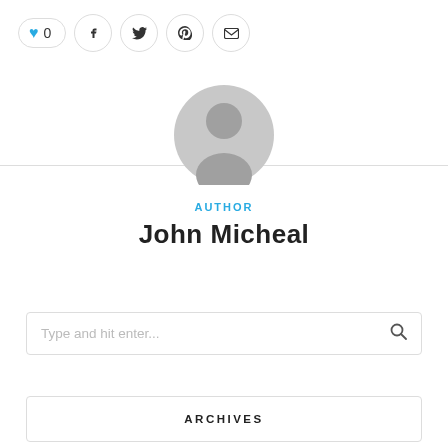[Figure (other): Social sharing bar with heart/like button showing 0, and icons for Facebook, Twitter, Pinterest, and email]
[Figure (illustration): Default gray user avatar/profile picture circle with silhouette]
AUTHOR
John Micheal
Type and hit enter...
ARCHIVES